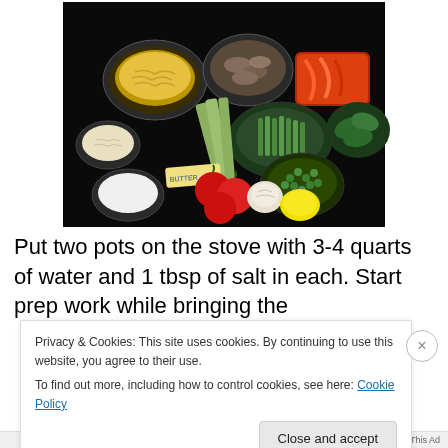[Figure (photo): Overhead photo of cooking ingredients on a dark surface: bowls of pasta, mushrooms, shredded cheese, a bowl of asparagus and peas, red bell peppers, fresh basil, tomatoes, garlic, a lemon, a stick of butter, celery/zucchini stalks, and a bowl of cream or milk.]
Put two pots on the stove with 3-4 quarts of water and 1 tbsp of salt in each. Start prep work while bringing the
Privacy & Cookies: This site uses cookies. By continuing to use this website, you agree to their use.
To find out more, including how to control cookies, see here: Cookie Policy
Close and accept